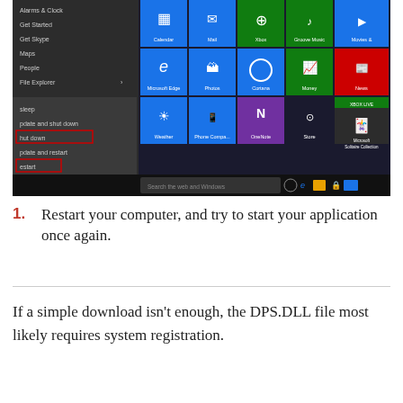[Figure (screenshot): Windows 10 Start menu screenshot showing app tiles (Calendar, Mail, Xbox, Groove Music, Microsoft Edge, Photos, Cortana, Money, News, Weather, Phone Companion, OneNote, Store, Microsoft Solitaire Collection) and a power options submenu open on the left with options: Sleep, Update and shut down, Shut down (highlighted with red box), Update and restart, Restart (highlighted with red box), and more. Taskbar visible at bottom with search bar and icons.]
Restart your computer, and try to start your application once again.
If a simple download isn't enough, the DPS.DLL file most likely requires system registration.